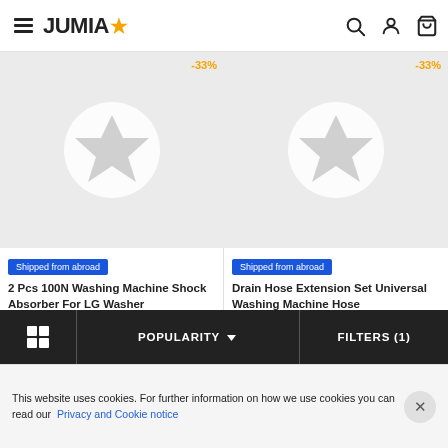JUMIA
[Figure (screenshot): Product image placeholder for 2 Pcs 100N Washing Machine Shock Absorber - grey background with white star circle logo, -33% discount badge]
Shipped from abroad
2 Pcs 100N Washing Machine Shock Absorber For LG Washer
₦ 3,205  ₦ 4,967
[Figure (screenshot): Product image placeholder for Drain Hose Extension Set Universal Washing Machine Hose - grey background with white star circle logo, -33% discount badge]
Shipped from abroad
Drain Hose Extension Set Universal Washing Machine Hose
₦ 2,003  ₦ 3,244
POPULARITY  FILTERS (1)
This website uses cookies. For further information on how we use cookies you can read our Privacy and Cookie notice